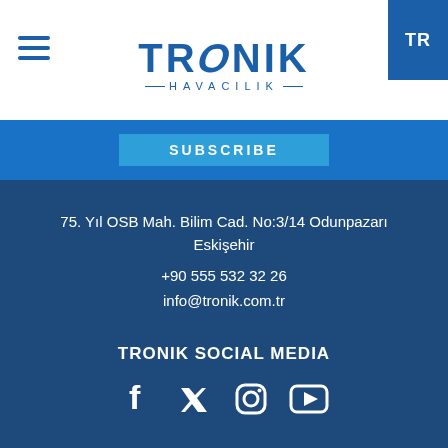TR
[Figure (logo): Tronik Havacılık logo with blue text and subtitle]
SUBSCRIBE
75. Yıl OSB Mah. Bilim Cad. No:3/14 Odunpazarı Eskişehir
+90 555 532 32 26
info@tronik.com.tr
TRONIK SOCIAL MEDIA
[Figure (illustration): Social media icons: Facebook, Twitter, Instagram, YouTube]